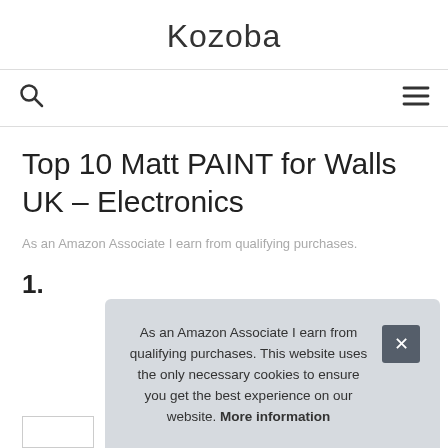Kozoba
Top 10 Matt PAINT for Walls UK – Electronics
As an Amazon Associate I earn from qualifying purchases.
1.
As an Amazon Associate I earn from qualifying purchases. This website uses the only necessary cookies to ensure you get the best experience on our website. More information